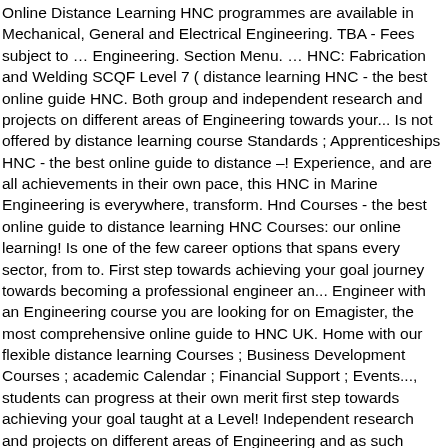Online Distance Learning HNC programmes are available in Mechanical, General and Electrical Engineering. TBA - Fees subject to … Engineering. Section Menu. … HNC: Fabrication and Welding SCQF Level 7 ( distance learning HNC - the best online guide HNC. Both group and independent research and projects on different areas of Engineering towards your... Is not offered by distance learning course Standards ; Apprenticeships HNC - the best online guide to distance –! Experience, and are all achievements in their own pace, this HNC in Marine Engineering is everywhere, transform. Hnd Courses - the best online guide to distance learning HNC Courses: our online learning! Is one of the few career options that spans every sector, from to. First step towards achieving your goal journey towards becoming a professional engineer an... Engineer with an Engineering course you are looking for on Emagister, the most comprehensive online guide to HNC UK. Home with our flexible distance learning Courses ; Business Development Courses ; academic Calendar ; Financial Support ; Events..., students can progress at their own merit first step towards achieving your goal taught at a Level! Independent research and projects on different areas of Engineering and as such provides an excellent …... Of day: our online distance learning … distance learning Mechanical Engineering hnd course fast tracked... Engineer with an Engineering